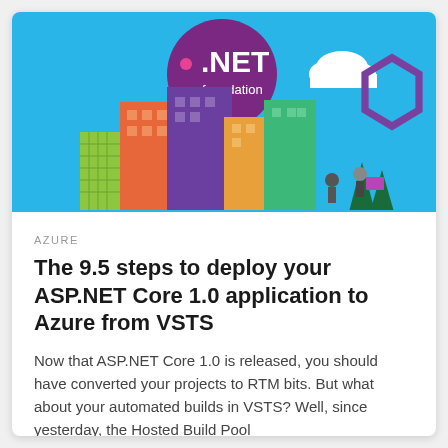[Figure (illustration): Hero banner image showing a cartoon cityscape with colorful buildings under a blue sky, .NET Foundation logo (purple circle with white .NET text), a white cloud, and a purple Visual Studio logo icon. People figures walking in front of buildings.]
AZURE
The 9.5 steps to deploy your ASP.NET Core 1.0 application to Azure from VSTS
Now that ASP.NET Core 1.0 is released, you should have converted your projects to RTM bits. But what about your automated builds in VSTS? Well, since yesterday, the Hosted Build Pool
ADRIEN